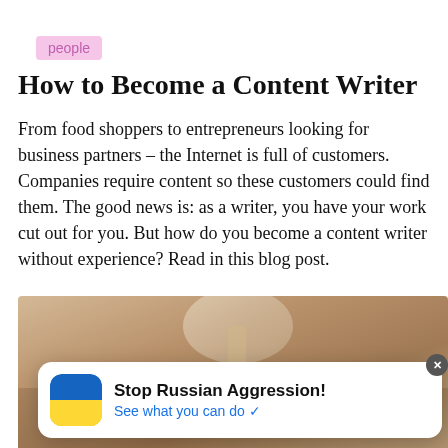people
How to Become a Content Writer
From food shoppers to entrepreneurs looking for business partners – the Internet is full of customers. Companies require content so these customers could find them. The good news is: as a writer, you have your work cut out for you. But how do you become a content writer without experience? Read in this blog post.
[Figure (photo): Sepia-toned photo of a desk lamp with books, partially obscured by a popup notification overlay]
Stop Russian Aggression! See what you can do ✓